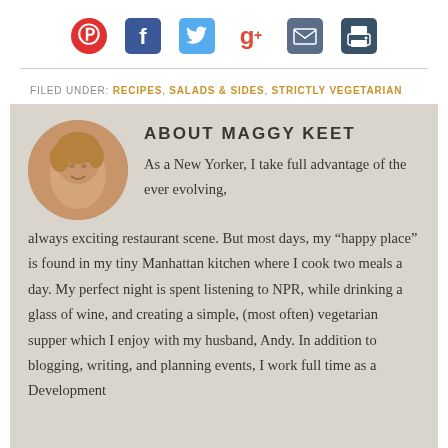[Figure (infographic): Social sharing icons: Pinterest (red), Facebook (dark blue), Twitter (light blue), Google+ (red), Email (slate blue envelope), Print (slate blue printer)]
FILED UNDER: RECIPES, SALADS & SIDES, STRICTLY VEGETARIAN
[Figure (photo): Circular cropped photo of Maggy Keet, a woman with short hair, smiling]
ABOUT MAGGY KEET
As a New Yorker, I take full advantage of the ever evolving, always exciting restaurant scene. But most days, my “happy place” is found in my tiny Manhattan kitchen where I cook two meals a day. My perfect night is spent listening to NPR, while drinking a glass of wine, and creating a simple, (most often) vegetarian supper which I enjoy with my husband, Andy. In addition to blogging, writing, and planning events, I work full time as a Development